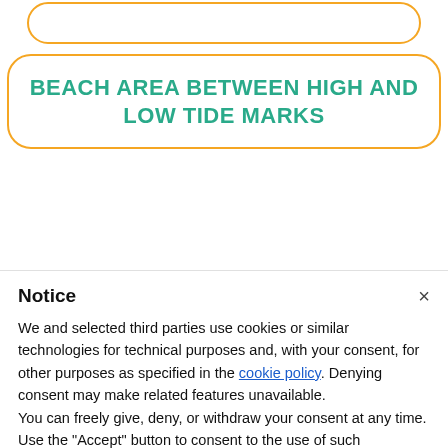[Figure (other): Orange rounded pill/button outline at top, partially cropped]
BEACH AREA BETWEEN HIGH AND LOW TIDE MARKS
Notice
We and selected third parties use cookies or similar technologies for technical purposes and, with your consent, for other purposes as specified in the cookie policy. Denying consent may make related features unavailable.
You can freely give, deny, or withdraw your consent at any time.
Use the “Accept” button to consent to the use of such technologies. Close this notice to continue without accepting.
Accept
Learn more and customise